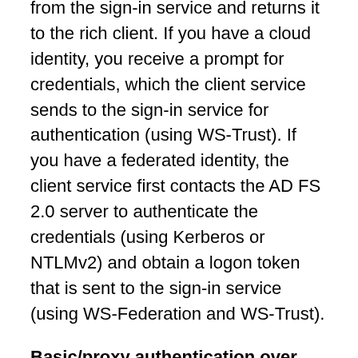from the sign-in service and returns it to the rich client. If you have a cloud identity, you receive a prompt for credentials, which the client service sends to the sign-in service for authentication (using WS-Trust). If you have a federated identity, the client service first contacts the AD FS 2.0 server to authenticate the credentials (using Kerberos or NTLMv2) and obtain a logon token that is sent to the sign-in service (using WS-Federation and WS-Trust).
Basic/proxy authentication over SSL - The Outlook client passes basic authentication credentials over SSL to Exchange Online. Exchange Online proxies the authentication request to the identity platform, and then to on-premises Active Directory Federation Server (for SSO).
Sign-in experience: The sign-in experience changes depending on the type of identity in use: